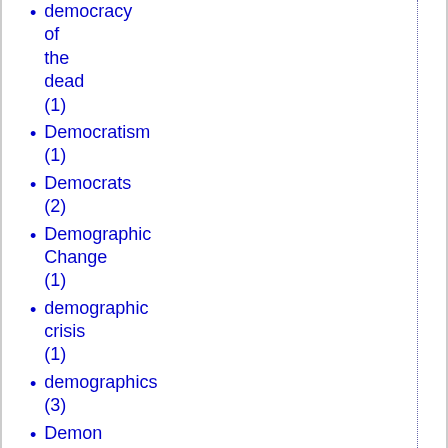democracy of the dead (1)
Democratism (1)
Democrats (2)
Demographic Change (1)
demographic crisis (1)
demographics (3)
Demon Deacons (1)
Denver Broncos (1)
Denver Nuggets (1)